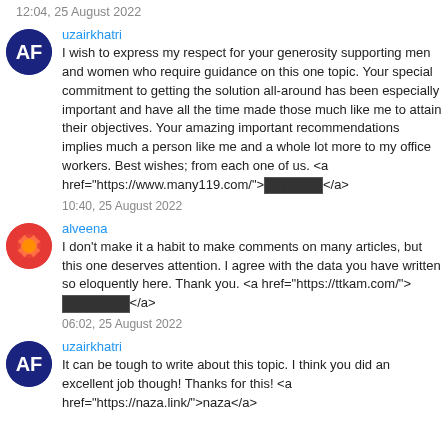12:04, 25 August 2022
uzairkhatri
I wish to express my respect for your generosity supporting men and women who require guidance on this one topic. Your special commitment to getting the solution all-around has been especially important and have all the time made those much like me to attain their objectives. Your amazing important recommendations implies much a person like me and a whole lot more to my office workers. Best wishes; from each one of us. <a href="https://www.many119.com/">[REDACTED]</a>
10:40, 25 August 2022
alveena
I don't make it a habit to make comments on many articles, but this one deserves attention. I agree with the data you have written so eloquently here. Thank you. <a href="https://ttkam.com/">[REDACTED]</a>
06:02, 25 August 2022
uzairkhatri
It can be tough to write about this topic. I think you did an excellent job though! Thanks for this! <a href="https://naza.link/">naza</a>